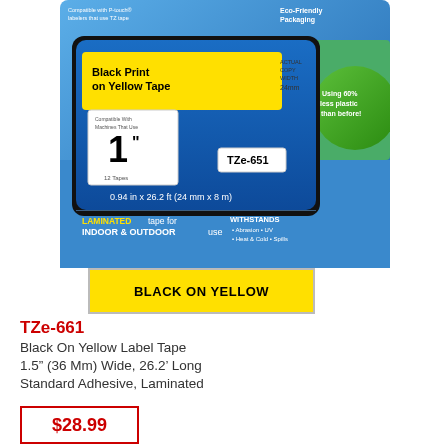[Figure (photo): Brother TZe-651 tape cassette product packaging showing Black Print on Yellow Tape, 0.94 in x 26.2 ft (24 mm x 8 m), with laminated tape for indoor & outdoor use, withstands abrasion, UV, heat & cold, spills. Eco-friendly packaging using 60% less plastic than before.]
BLACK ON YELLOW
TZe-661
Black On Yellow Label Tape
1.5" (36 Mm) Wide, 26.2' Long
Standard Adhesive, Laminated
$28.99